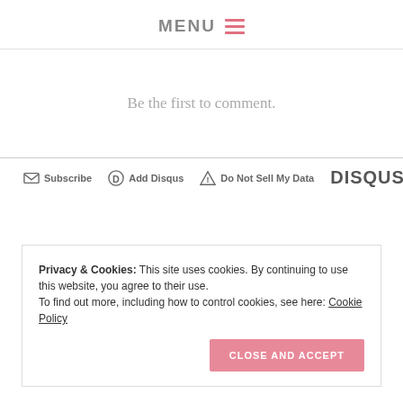MENU ☰
Be the first to comment.
✉ Subscribe  ⊙ Add Disqus  ⚠ Do Not Sell My Data  DISQUS
Privacy & Cookies: This site uses cookies. By continuing to use this website, you agree to their use. To find out more, including how to control cookies, see here: Cookie Policy
CLOSE AND ACCEPT